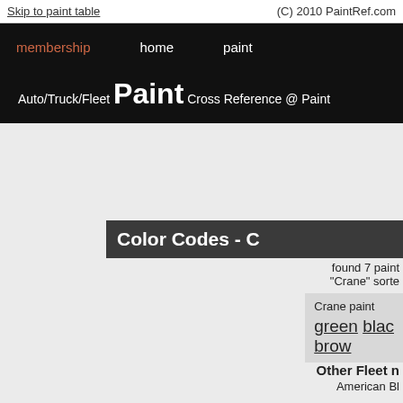Skip to paint table | (C) 2010 PaintRef.com
membership   home   paint
Auto/Truck/Fleet Paint Cross Reference @ Paint
Color Codes - C
found 7 paint "Crane" sorte
Crane paint
green  black
brow
Other Fleet n
American  Bl